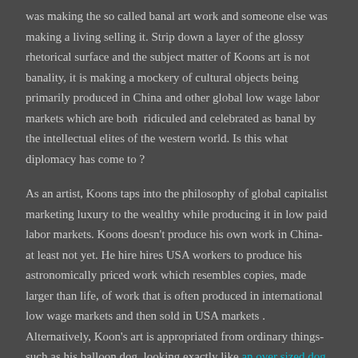was making the so called banal art work and someone else was making a living selling it. Strip down a layer of the glossy rhetorical surface and the subject matter of Koons art is not banality, it is making a mockery of cultural objects being primarily produced in China and other global low wage labor markets which are both  ridiculed and celebrated as banal by the intellectual elites of the western world. Is this what diplomacy has come to ?
As an artist, Koons taps into the philosophy of global capitalist marketing luxury to the wealthy while producing it in low paid labor markets. Koons doesn't produce his own work in China- at least not yet. He hire hires USA workers to produce his astronomically priced work which resembles copies, made larger than life, of work that is often produced in international low wage markets and then sold in USA markets . Alternatively, Koon's art is appropriated from ordinary things- such as his balloon dog, looking exactly like an over sized dog made out of a twisted balloon but in Koons case made out of stainless steel, a very expensive material. If Koons works are not direct copies of something else they look like they are trying to be so generic as to be devoid of any quality